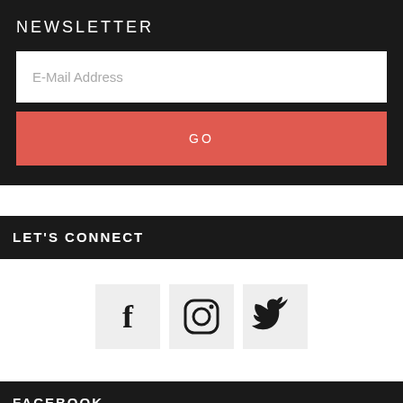NEWSLETTER
E-Mail Address
GO
LET'S CONNECT
[Figure (infographic): Three social media icon buttons: Facebook (f), Instagram (camera), Twitter (bird), each in a light grey square box]
FACEBOOK